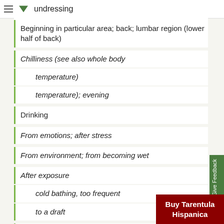undressing
Beginning in particular area; back; lumbar region (lower half of back)
Chilliness (see also whole body temperature)
temperature); evening
Drinking
From emotions; after stress
From environment; from becoming wet
After exposure
cold bathing, too frequent
to a draft
Icy coldness of the body
Internal